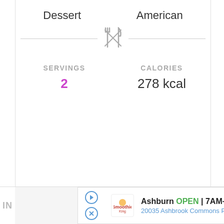Dessert
American
[Figure (illustration): Fork and knife crossed icon in gray]
SERVINGS
2
CALORIES
278 kcal
Ashburn  OPEN  7AM–9PM  20035 Ashbrook Commons Plaza, Unit